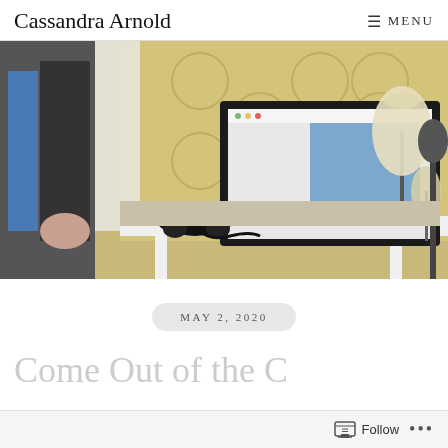Cassandra Arnold  MENU
[Figure (photo): A home studio setup with a white desk, a computer monitor with a blue window open, headphones on the desk, a lamp, patterned yellow wallpaper, and clothes hanging on a rack to the left. A microphone on a stand is visible on the right.]
MAY 2, 2020
Come Out of the C